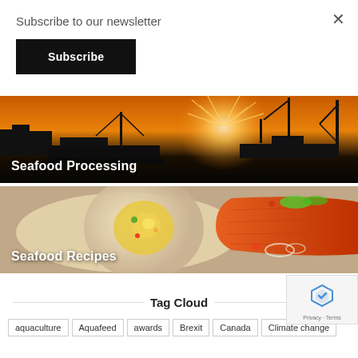Subscribe to our newsletter
Subscribe
[Figure (photo): Harbor scene at sunset with boats and cranes silhouetted against golden sky, with text overlay 'Seafood Processing']
[Figure (photo): Plated seafood dish with salmon fillet and garnishes, with text overlay 'Seafood Recipes']
Tag Cloud
aquaculture
Aquafeed
awards
Brexit
Canada
Climate change